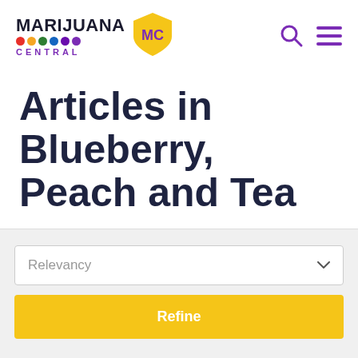[Figure (logo): Marijuana Central logo with colorful dots and yellow shield with MC initials]
Articles in Blueberry, Peach and Tea
Relevancy
Refine